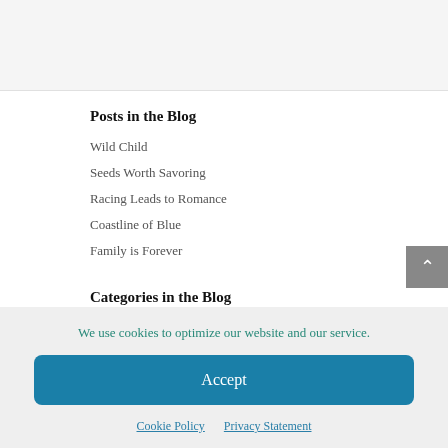[Figure (photo): Gray/white image area at the top of the page, partially visible]
Posts in the Blog
Wild Child
Seeds Worth Savoring
Racing Leads to Romance
Coastline of Blue
Family is Forever
Categories in the Blog
Homelife
We use cookies to optimize our website and our service.
Accept
Cookie Policy  Privacy Statement